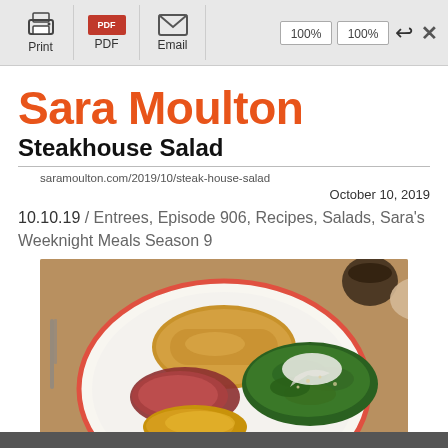Print | PDF | Email | 100% | 100% | ↩ | ×
Sara Moulton
Steakhouse Salad
saramoulton.com/2019/10/steak-house-salad
October 10, 2019
10.10.19 / Entrees, Episode 906, Recipes, Salads, Sara's Weeknight Meals Season 9
[Figure (photo): A white plate with red rim containing sliced steak, caramelized onions, and a green salad with white dressing, on a restaurant table.]